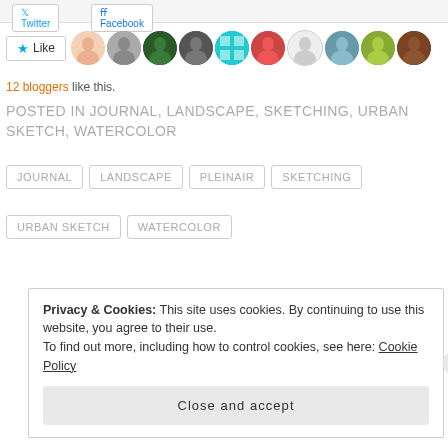[Figure (screenshot): Twitter and Facebook share buttons at top of page]
[Figure (screenshot): Like button with star icon and 10 blogger avatar thumbnails in a row]
12 bloggers like this.
POSTED IN JOURNAL, LANDSCAPE, SKETCHING, URBAN SKETCH, WATERCOLOR
JOURNAL
LANDSCAPE
PLEINAIR
SKETCHING
URBAN SKETCH
WATERCOLOR
Privacy & Cookies: This site uses cookies. By continuing to use this website, you agree to their use.
To find out more, including how to control cookies, see here: Cookie Policy
Close and accept